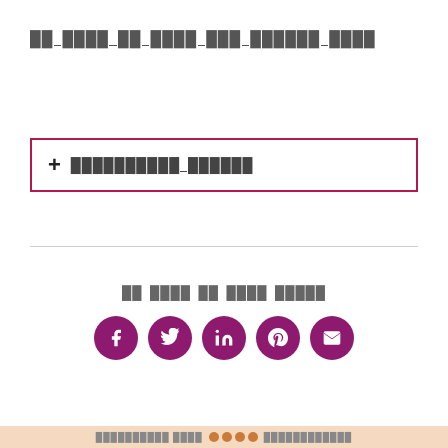██ ████ ██ ████ ███ ██████ ████
+ ██████████ ██████
██ ████ ██ ████ █████
[Figure (infographic): Five circular social media share buttons: Facebook, Twitter, LinkedIn, Pinterest, Email — all in dark purple/magenta color]
██████████ ████  ████████████